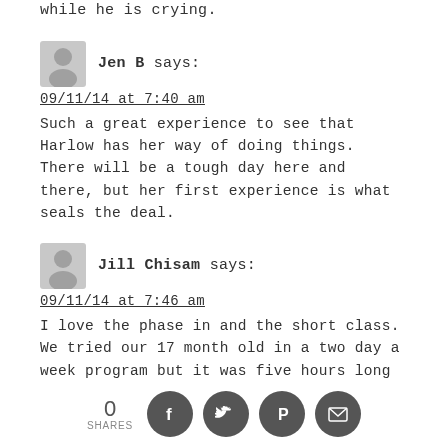while he is crying.
Jen B says:
09/11/14 at 7:40 am
Such a great experience to see that Harlow has her way of doing things. There will be a tough day here and there, but her first experience is what seals the deal.
Jill Chisam says:
09/11/14 at 7:46 am
I love the phase in and the short class. We tried our 17 month old in a two day a week program but it was five hours long and they made you drop them and go. He only lasted two days after he cried all day and was sad and distant when I picked
0 SHARES